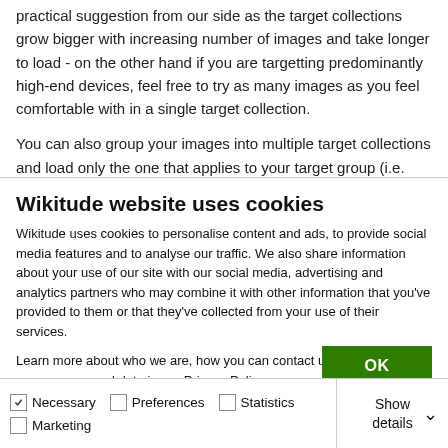practical suggestion from our side as the target collections grow bigger with increasing number of images and take longer to load - on the other hand if you are targetting predominantly high-end devices, feel free to try as many images as you feel comfortable with in a single target collection.

You can also group your images into multiple target collections and load only the one that applies to your target group (i.e. based on location or language setting).
Wikitude website uses cookies
Wikitude uses cookies to personalise content and ads, to provide social media features and to analyse our traffic. We also share information about your use of our site with our social media, advertising and analytics partners who may combine it with other information that you've provided to them or that they've collected from your use of their services.
Learn more about who we are, how you can contact us and how we process personal data in our Privacy Policy.
OK
Necessary  Preferences  Statistics  Marketing  Show details